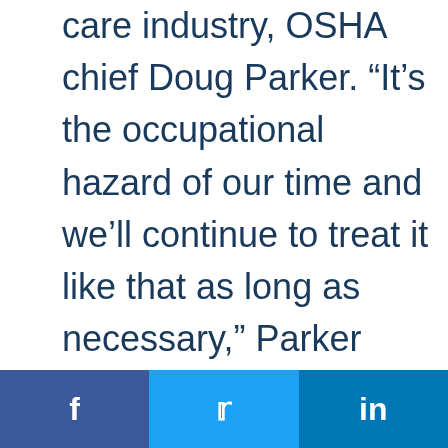care industry, OSHA chief Doug Parker. “It’s the occupational hazard of our time and we’ll continue to treat it like that as long as necessary,” Parker said of Covid-19. Parker, the assistant secretary of labor for occupational safety and health sworn in on Nov. 3,
f  [Twitter bird]  in